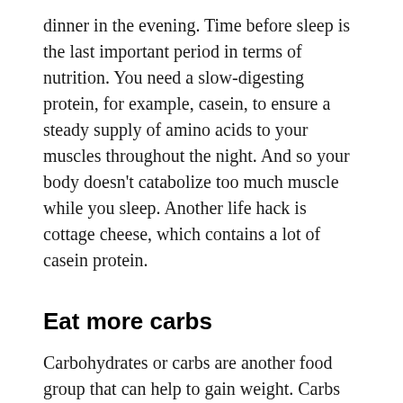dinner in the evening. Time before sleep is the last important period in terms of nutrition. You need a slow-digesting protein, for example, casein, to ensure a steady supply of amino acids to your muscles throughout the night. And so your body doesn't catabolize too much muscle while you sleep. Another life hack is cottage cheese, which contains a lot of casein protein.
Eat more carbs
Carbohydrates or carbs are another food group that can help to gain weight. Carbs are stored in the muscles and they provide the energy you need to create body tissue. You will need enough carbs If you want to build muscles and gain 10lbs in a month. Here is a list of carbohydrates, that will help you in it:
beans